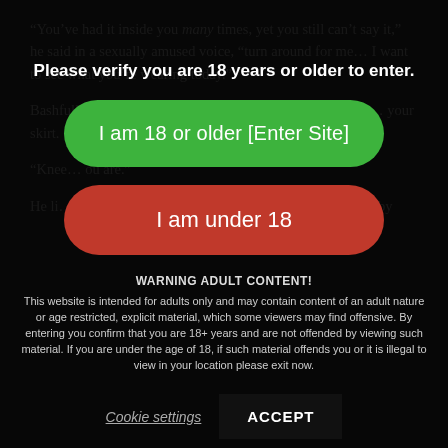“You’ve had it inside you many times, yet you still can’t say it,” he said in a sexually amused voice, “turn around for me… I want to see what you’re wearing today.”
Bashfully you turned and rested your hands on the table th… your skirt.
“Knee… ou are.”
He li… you knee length sto…
your skirt over
along your ham
and kissed your
skin, “let’s prac
time…”
Please verify you are 18 years or older to enter.
I am 18 or older [Enter Site]
I am under 18
WARNING ADULT CONTENT!
This website is intended for adults only and may contain content of an adult nature or age restricted, explicit material, which some viewers may find offensive. By entering you confirm that you are 18+ years and are not offended by viewing such material. If you are under the age of 18, if such material offends you or it is illegal to view in your location please exit now.
Cookie settings
ACCEPT